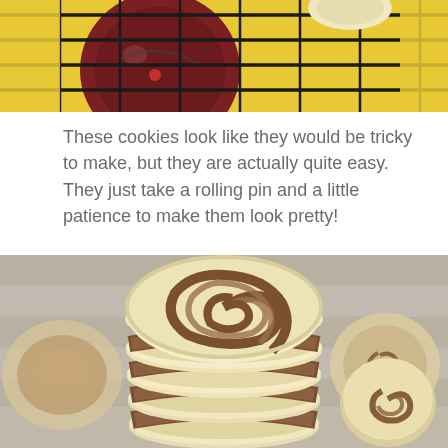[Figure (photo): Partial view of decorated cookies on a wire cooling rack with a yellow background, showing colorful/decorated cookies from above.]
These cookies look like they would be tricky to make, but they are actually quite easy.  They just take a rolling pin and a little patience to make them look pretty!
[Figure (photo): A tall stack of pinwheel swirl cookies (vanilla and chocolate spiral cookies) on a wooden surface, with more cookies visible in the background.]